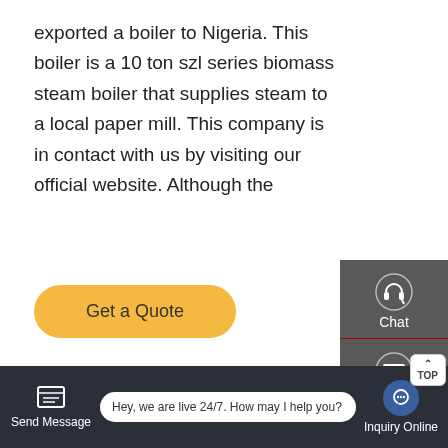exported a boiler to Nigeria. This boiler is a 10 ton szl series biomass steam boiler that supplies steam to a local paper mill. This company is in contact with us by visiting our official website. Although the
[Figure (other): Yellow button labeled 'Get a Quote' with rounded corners]
[Figure (photo): Industrial boiler room interior with yellow pipes, large cylindrical boiler, white square pillar with brown stripes, and various industrial equipment]
[Figure (infographic): Right-side navigation sidebar with Chat (headset icon), Email (envelope icon), and Contact (speech bubble icon) options on dark grey background]
[Figure (screenshot): Bottom bar with Send Message button, live chat bubble saying 'Hey, we are live 24/7. How may I help you?', and Inquiry Online button with chat icon]